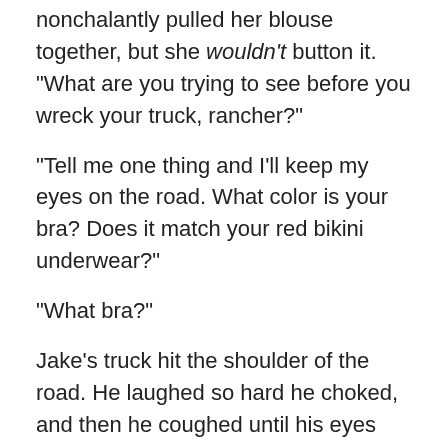nonchalantly pulled her blouse together, but she wouldn't button it. “What are you trying to see before you wreck your truck, rancher?”
“Tell me one thing and I’ll keep my eyes on the road. What color is your bra? Does it match your red bikini underwear?”
“What bra?”
Jake’s truck hit the shoulder of the road. He laughed so hard he choked, and then he coughed until his eyes watered. “That’s the girl I remember. Let it all loose, baby.”
This excerpt is short and sweet. Thank you for reading today.
Mailing List Sign Up